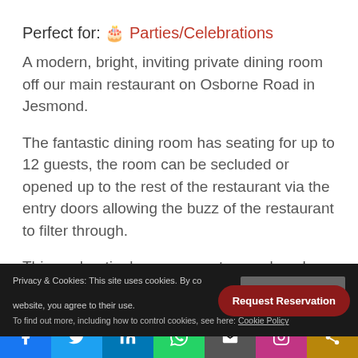Perfect for: 🎂 Parties/Celebrations
A modern, bright, inviting private dining room off our main restaurant on Osborne Road in Jesmond.
The fantastic dining room has seating for up to 12 guests, the room can be secluded or opened up to the rest of the restaurant via the entry doors allowing the buzz of the restaurant to filter through.
This enchantingly space creates a relaxed, luxurious atmosphere perfect for family get togethers, birthdays and a perfect setting for afternoon tea and other...
Price £25 (2 Courses) PP*
Privacy & Cookies: This site uses cookies. By continuing to use this website, you agree to their use. To find out more, including how to control cookies, see here: Cookie Policy
Close and accept
Request Reservation